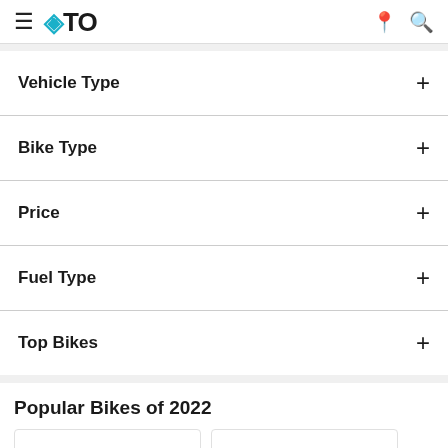OTO — navigation header with hamburger menu, logo, location pin and search icons
Vehicle Type
Bike Type
Price
Fuel Type
Top Bikes
Popular Bikes of 2022
[Figure (other): Two bike listing card thumbnails, partially visible at bottom of page]